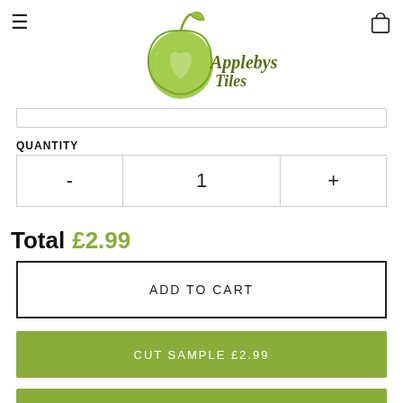[Figure (logo): Applebys Tiles logo: green apple graphic with script text 'Applebys Tiles']
QUANTITY
- 1 +
Total £2.99
ADD TO CART
CUT SAMPLE £2.99